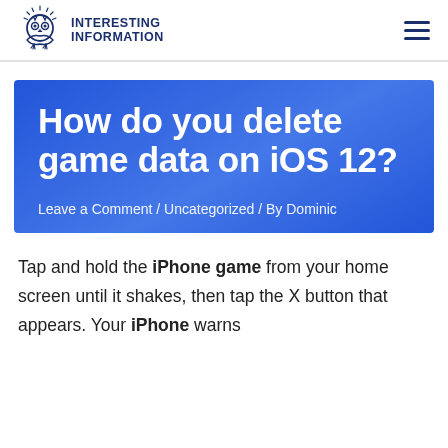Interesting Information
How do you delete game data on iOS 12?
Leave a Comment / Uncategorized / By Dominic
Tap and hold the iPhone game from your home screen until it shakes, then tap the X button that appears. Your iPhone warns